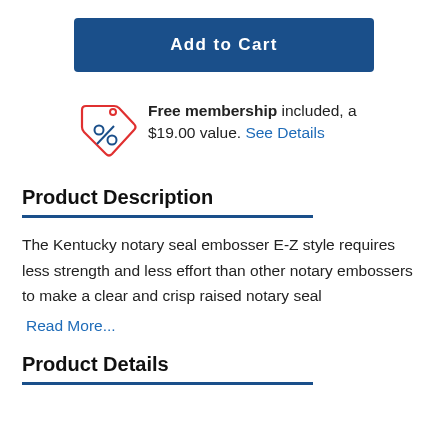[Figure (other): Blue 'Add to Cart' button]
Free membership included, a $19.00 value. See Details
Product Description
The Kentucky notary seal embosser E-Z style requires less strength and less effort than other notary embossers to make a clear and crisp raised notary seal
Read More...
Product Details